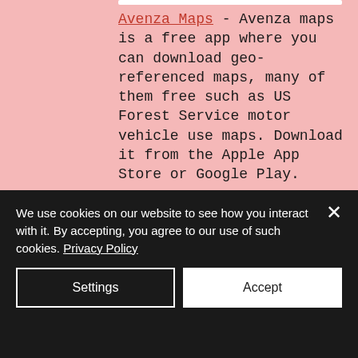Avenza Maps - Avenza maps is a free app where you can download geo-referenced maps, many of them free such as US Forest Service motor vehicle use maps. Download it from the Apple App Store or Google Play.
[Figure (logo): Avenza Maps app icon — green rounded square with a red map pin on a green terrain background — next to the text 'Avenza Maps']
We use cookies on our website to see how you interact with it. By accepting, you agree to our use of such cookies. Privacy Policy